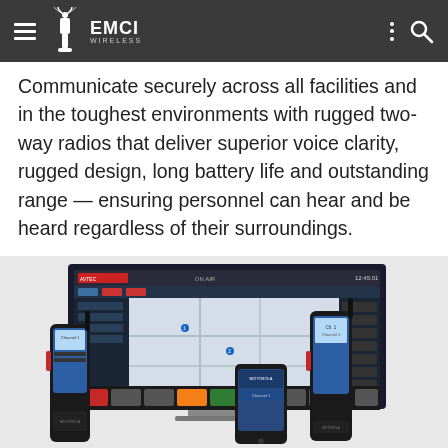EMCI WIRELESS
Communicate securely across all facilities and in the toughest environments with rugged two-way radios that deliver superior voice clarity, rugged design, long battery life and outstanding range — ensuring personnel can hear and be heard regardless of their surroundings.
[Figure (photo): Product photo showing Motorola two-way radios, a smartphone, and a dispatch console software interface (AVTEC) displayed on a computer monitor, arranged together as a communications solution suite.]